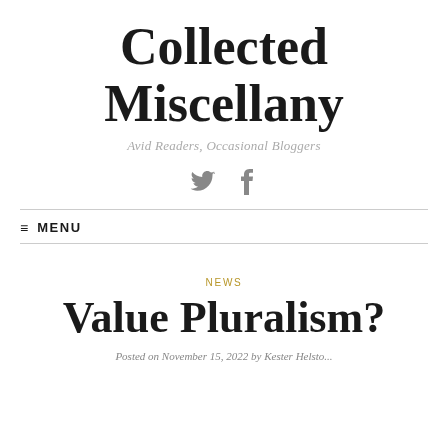Collected Miscellany
Avid Readers, Occasional Bloggers
[Figure (other): Social media icons: Twitter bird and Facebook f]
≡ MENU
NEWS
Value Pluralism?
Posted on November 15, 2022 by Kester Helsto...